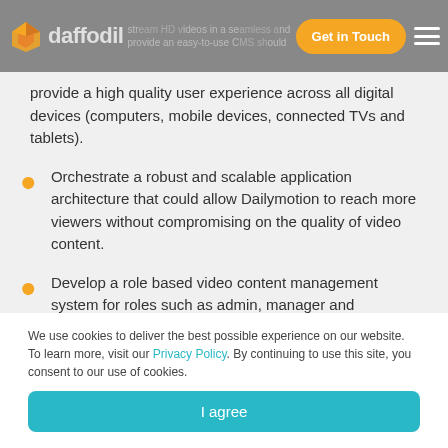daffodil | stream HD videos in a seamless and provide an easy-to-use CMS | Get in Touch
provide a high quality user experience across all digital devices (computers, mobile devices, connected TVs and tablets).
Orchestrate a robust and scalable application architecture that could allow Dailymotion to reach more viewers without compromising on the quality of video content.
Develop a role based video content management system for roles such as admin, manager and
We use cookies to deliver the best possible experience on our website. To learn more, visit our Privacy Policy. By continuing to use this site, you consent to our use of cookies.
I agree